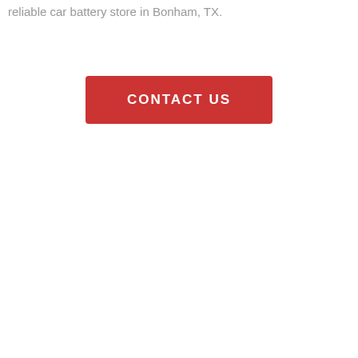reliable car battery store in Bonham, TX.
CONTACT US